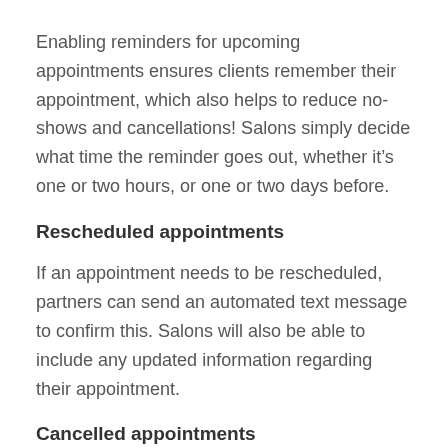Enabling reminders for upcoming appointments ensures clients remember their appointment, which also helps to reduce no-shows and cancellations! Salons simply decide what time the reminder goes out, whether it’s one or two hours, or one or two days before.
Rescheduled appointments
If an appointment needs to be rescheduled, partners can send an automated text message to confirm this. Salons will also be able to include any updated information regarding their appointment.
Cancelled appointments